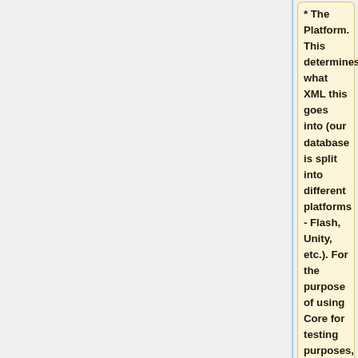* The Platform. This determines what XML this goes into (our database is split into different platforms - Flash, Unity, etc.). For the purpose of using Core for testing purposes, this isn't massively important, but you need to select one for this to work, so just select Flash.
* The